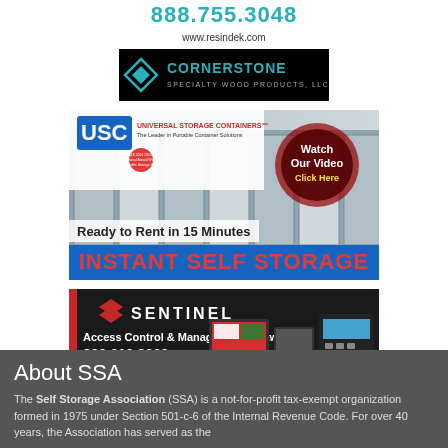888.755.3048
www.resindek.com
[Figure (logo): Cornerstone Specialty Wood Products LLC logo on black background]
[Figure (photo): USC Universal Storage Containers ad - Ready to Rent in 15 Minutes, INSTANT SELF STORAGE, Watch Our Video Click Here]
[Figure (photo): Sentinel Access Control & Management Software ad - 866 610 9062, CLICK HERE]
About SSA
The Self Storage Association (SSA) is a not-for-profit tax-exempt organization formed in 1975 under Section 501-c-6 of the Internal Revenue Code. For over 40 years, the Association has served as the